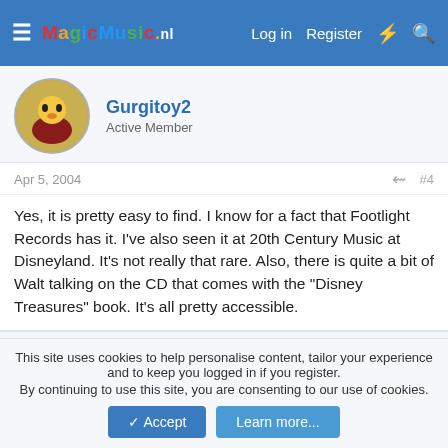MagicMusic.nl — Log in | Register
Gurgitoy2
Active Member
Apr 5, 2004   #4
Yes, it is pretty easy to find. I know for a fact that Footlight Records has it. I've also seen it at 20th Century Music at Disneyland. It's not really that rare. Also, there is quite a bit of Walt talking on the CD that comes with the "Disney Treasures" book. It's all pretty accessible.
WishesFan
Member
This site uses cookies to help personalise content, tailor your experience and to keep you logged in if you register.
By continuing to use this site, you are consenting to our use of cookies.